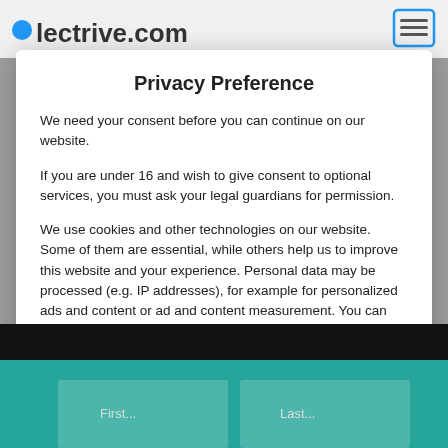[Figure (screenshot): Background website header showing partial logo text 'lectrive.com' and a button with icon]
Privacy Preference
We need your consent before you can continue on our website.
If you are under 16 and wish to give consent to optional services, you must ask your legal guardians for permission.
We use cookies and other technologies on our website. Some of them are essential, while others help us to improve this website and your experience. Personal data may be processed (e.g. IP addresses), for example for personalized ads and content or ad and content measurement. You can find more information about the use of your data in our privacy policy. You can revoke or adjust your selection at
Essential
Marketing
External Media
[Figure (screenshot): Bottom portion of website with black bar and teal/dark teal colored sections with form elements]